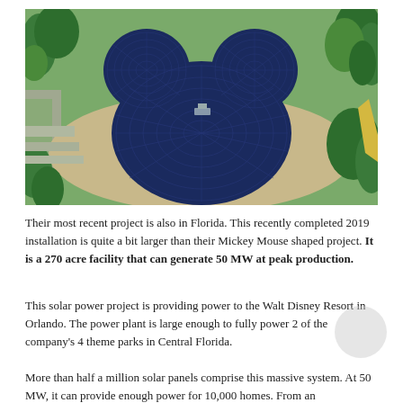[Figure (photo): Aerial photo of a large solar panel installation in the shape of Mickey Mouse head (two circular ears on top of a larger circle), surrounded by grass and trees in Florida.]
Their most recent project is also in Florida. This recently completed 2019 installation is quite a bit larger than their Mickey Mouse shaped project. It is a 270 acre facility that can generate 50 MW at peak production.
This solar power project is providing power to the Walt Disney Resort in Orlando. The power plant is large enough to fully power 2 of the company's 4 theme parks in Central Florida.
More than half a million solar panels comprise this massive system. At 50 MW, it can provide enough power for 10,000 homes. From an environmental